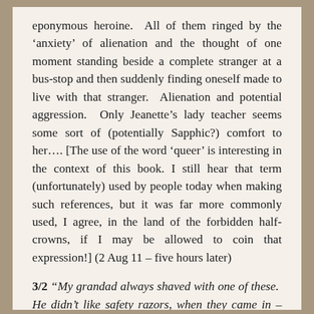eponymous heroine.  All of them ringed by the 'anxiety' of alienation and the thought of one moment standing beside a complete stranger at a bus-stop and then suddenly finding oneself made to live with that stranger.  Alienation and potential aggression.  Only Jeanette's lady teacher seems some sort of (potentially Sapphic?) comfort to her.... [The use of the word 'queer' is interesting in the context of this book. I still hear that term (unfortunately) used by people today when making such references, but it was far more commonly used, I agree, in the land of the forbidden half-crowns, if I may be allowed to coin that expression!] (2 Aug 11 – five hours later)
3/2 "My grandad always shaved with one of these.  He didn't like safety razors, when they came in – said they were for nancy boys."
Then Dad responses for the onset of a expression